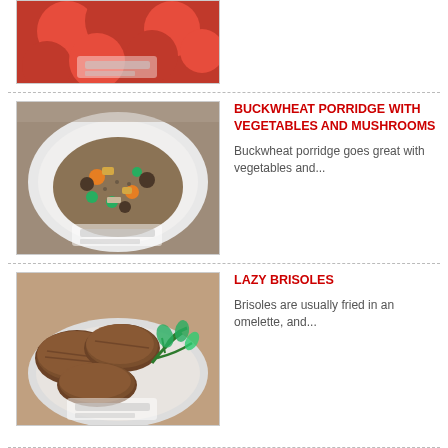[Figure (photo): Partial view of red pomegranates from top of page]
[Figure (photo): A plate of buckwheat porridge with mixed vegetables and mushrooms]
BUCKWHEAT PORRIDGE WITH VEGETABLES AND MUSHROOMS
Buckwheat porridge goes great with vegetables and...
[Figure (photo): Fried brisoles (meat patties) on a plate with green herbs]
LAZY BRISOLES
Brisoles are usually fried in an omelette, and...